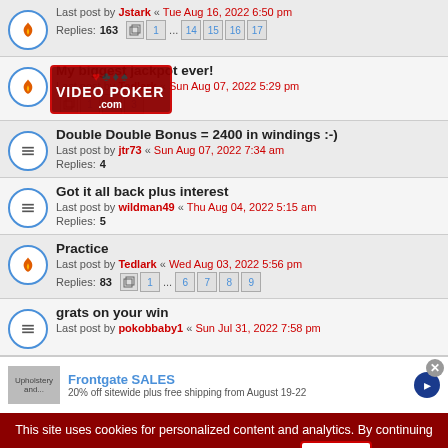Last post by Jstark « Tue Aug 16, 2022 6:50 pm
Replies: 163
Pages: 1 ... 14 15 16 17
My biggest jackpot ever!
Last post by Tedlark « Sun Aug 07, 2022 5:29 pm
Pages: 1 2 3
Double Double Bonus = 2400 in windings :-)
Last post by jtr73 « Sun Aug 07, 2022 7:34 am
Replies: 4
Got it all back plus interest
Last post by wildman49 « Thu Aug 04, 2022 5:15 am
Replies: 5
Practice
Last post by Tedlark « Wed Aug 03, 2022 5:56 pm
Replies: 83
Pages: 1 ... 6 7 8 9
grats on your win
Last post by pokobbaby1 « Sun Jul 31, 2022 7:58 pm
[Figure (logo): VIDEO POKER .com watermark with card suit symbols]
Frontgate SALES
20% off sitewide plus free shipping from August 19-22
This site uses cookies for personalized content and analytics. By continuing to use this site, you agree to this use. Close